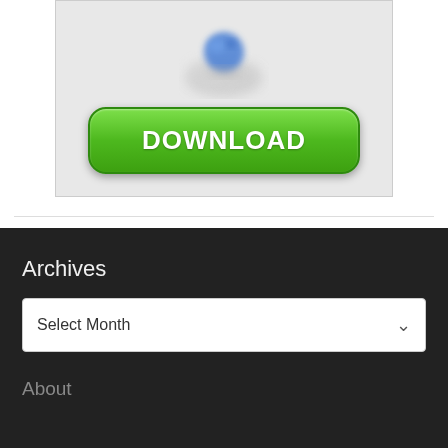[Figure (screenshot): A blurred globe graphic with blue and gray tones above a large green rounded download button labeled DOWNLOAD]
Archives
[Figure (screenshot): A dropdown select box with the placeholder text 'Select Month' and a chevron arrow on the right]
About